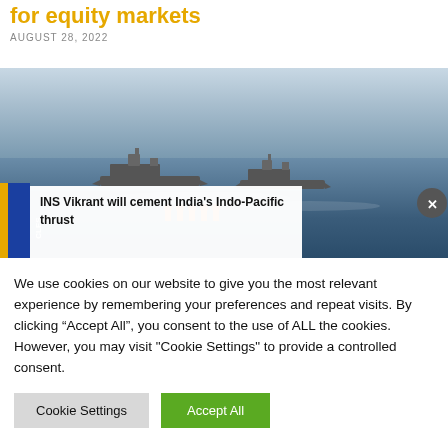for equity markets
AUGUST 28, 2022
[Figure (photo): Naval ships sailing at sea with orange/blue sidebar overlay and popup reading 'INS Vikrant will cement India's Indo-Pacific thrust'. A close button (X) is visible on the right.]
We use cookies on our website to give you the most relevant experience by remembering your preferences and repeat visits. By clicking “Accept All”, you consent to the use of ALL the cookies. However, you may visit "Cookie Settings" to provide a controlled consent.